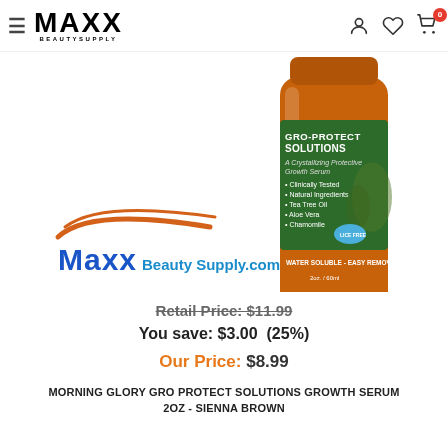MAXX BEAUTY SUPPLY
[Figure (photo): Product bottle of Morning Glory Gro-Protect Solutions Growth Serum in an orange bottle with green label, with Maxx Beauty Supply.com watermark overlay]
Retail Price: $11.99
You save: $3.00  (25%)
Our Price: $8.99
MORNING GLORY GRO PROTECT SOLUTIONS GROWTH SERUM 2OZ - SIENNA BROWN